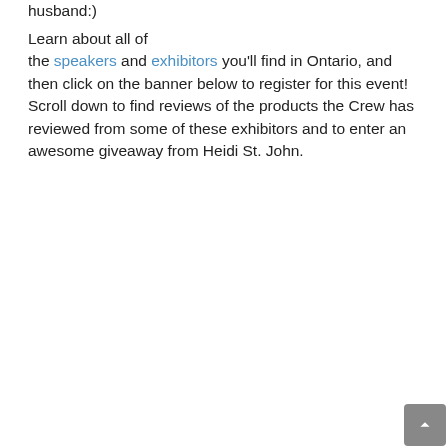husband:)
Learn about all of the speakers and exhibitors you'll find in Ontario, and then click on the banner below to register for this event! Scroll down to find reviews of the products the Crew has reviewed from some of these exhibitors and to enter an awesome giveaway from Heidi St. John.
[Figure (infographic): Conference registration banner with dark blue border, text: OUTSTANDING SPEAKERS | 100S OF WORKSHOPS | HUGE EXHIBIT HALL, LOWEST PRICE OF THE SEASON (orange), CLICK HERE TO REGISTER (blue), green circle decoration, website URL at bottom]